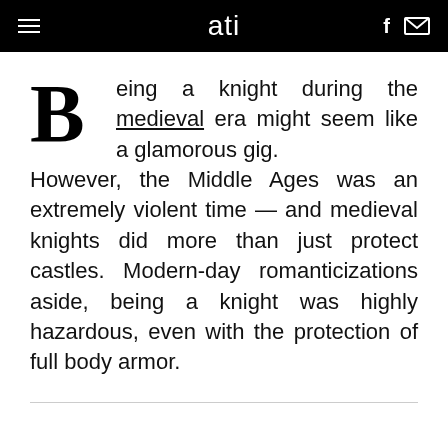ati
Being a knight during the medieval era might seem like a glamorous gig. However, the Middle Ages was an extremely violent time — and medieval knights did more than just protect castles. Modern-day romanticizations aside, being a knight was highly hazardous, even with the protection of full body armor.